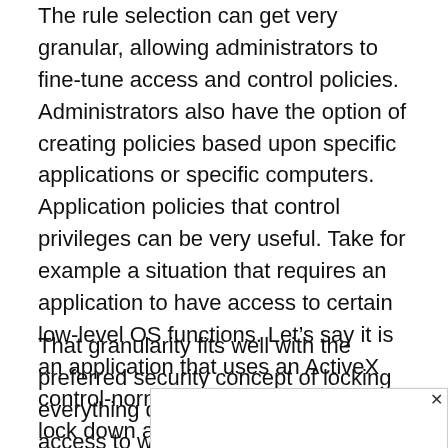The rule selection can get very granular, allowing administrators to fine-tune access and control policies. Administrators also have the option of creating policies based upon specific applications or specific computers. Application policies that control privileges can be very useful. Take for example a situation that requires an application to have access to certain low-level OS functions. Let's say it is an application that uses an ActiveX control-normally, you may want to lock down access to that control to prevent a breach. With Viewfinity, you can grant temporary privileges to the application, allowing access to the normally locked-down ActiveX control, so the application can function properly, while the level of security remains high.
That granularity fits well with the preferred security concept of locking everything down and only allowing access to what is requir... rols that can... le